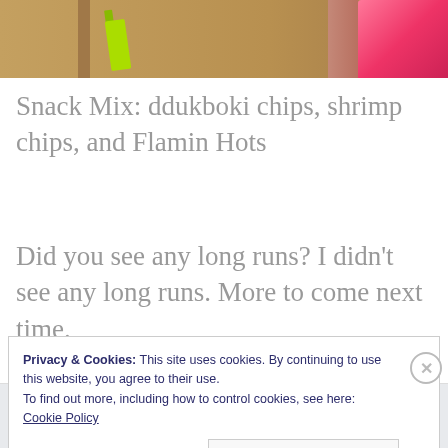[Figure (photo): Partial photo of snack food items on a sandy/grainy surface with a bright green object and pink/red item visible]
Snack Mix: ddukboki chips, shrimp chips, and Flamin Hots
Did you see any long runs? I didn’t see any long runs. More to come next time.
Privacy & Cookies: This site uses cookies. By continuing to use this website, you agree to their use.
To find out more, including how to control cookies, see here:
Cookie Policy
Close and accept